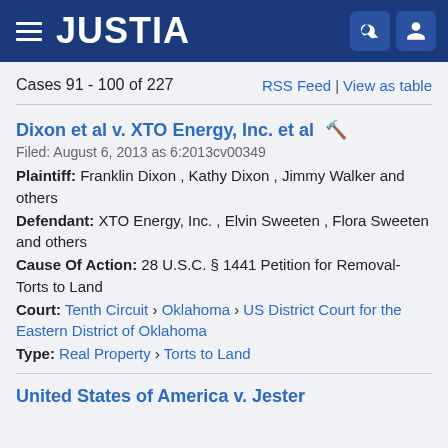JUSTIA
Cases 91 - 100 of 227
RSS Feed | View as table
Dixon et al v. XTO Energy, Inc. et al
Filed: August 6, 2013 as 6:2013cv00349
Plaintiff: Franklin Dixon , Kathy Dixon , Jimmy Walker and others
Defendant: XTO Energy, Inc. , Elvin Sweeten , Flora Sweeten and others
Cause Of Action: 28 U.S.C. § 1441 Petition for Removal-Torts to Land
Court: Tenth Circuit › Oklahoma › US District Court for the Eastern District of Oklahoma
Type: Real Property › Torts to Land
United States of America v. Jester